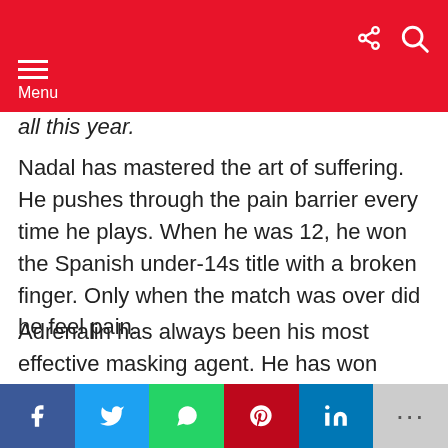Menu
all this year.
Nadal has mastered the art of suffering. He pushes through the pain barrier every time he plays. When he was 12, he won the Spanish under-14s title with a broken finger. Only when the match was over did he feel pain.
Adrenalin has always been his most effective masking agent. He has won eight majors since he first wore his custom-made shoes, so imbalanced he thought he would fall flat on his face. Back then, warning heeded, he vowed to cram as much as he
f  t  (whatsapp)  p  in  ...